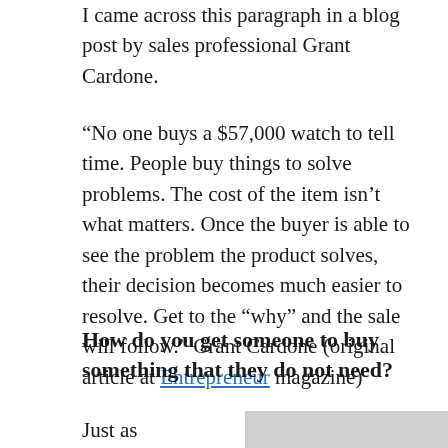I came across this paragraph in a blog post by sales professional Grant Cardone.
“No one buys a $57,000 watch to tell time. People buy things to solve problems. The cost of the item isn’t what matters. Once the buyer is able to see the problem the product solves, their decision becomes much easier to resolve. Get to the “why” and the sale will follow.” Grant Cardone (original article at Entrepreneur magazine)
How do you get someone to buy something that they do not need?
Just as